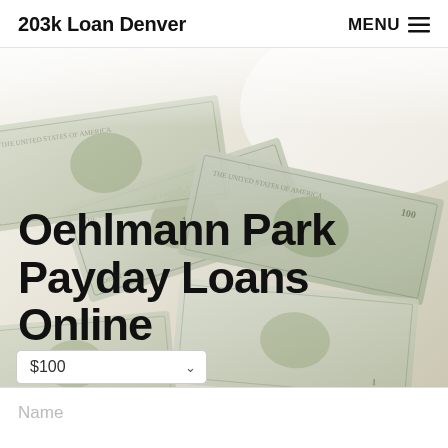203k Loan Denver   MENU ☰
[Figure (photo): Background photo of scattered US dollar bills ($1 and larger denominations) fanned out on a surface, providing a textured money background for the hero section.]
Oehlmann Park Payday Loans Online
$100 (dropdown selector for loan amount)
Name (input field placeholder)